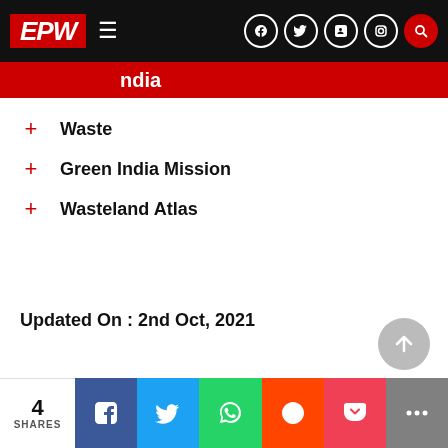EPW
India
Waste
Green India Mission
Wasteland Atlas
Updated On : 2nd Oct, 2021
4 SHARES